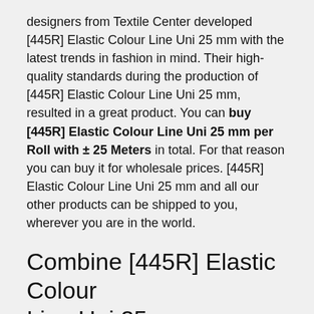designers from Textile Center developed [445R] Elastic Colour Line Uni 25 mm with the latest trends in fashion in mind. Their high-quality standards during the production of [445R] Elastic Colour Line Uni 25 mm, resulted in a great product. You can buy [445R] Elastic Colour Line Uni 25 mm per Roll with ± 25 Meters in total. For that reason you can buy it for wholesale prices. [445R] Elastic Colour Line Uni 25 mm and all our other products can be shipped to you, wherever you are in the world.
Combine [445R] Elastic Colour Line Uni 25 mm
Also find our other items in the complete collection of [445R] Elastic Colour Line Uni 25 mm. One of the best things of Textile Center is that we sell both Fabrics and Haberdashery. That gives us the opportunity to match colours and designs among all our Fabrics and Haberdashery. This is awesome because now these can be processed in harmony!